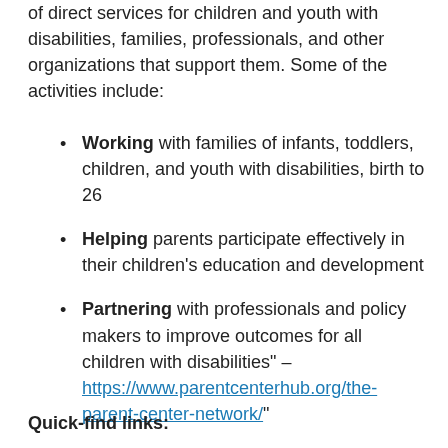of direct services for children and youth with disabilities, families, professionals, and other organizations that support them. Some of the activities include:
Working with families of infants, toddlers, children, and youth with disabilities, birth to 26
Helping parents participate effectively in their children's education and development
Partnering with professionals and policy makers to improve outcomes for all children with disabilities" – https://www.parentcenterhub.org/the-parent-center-network/"
Quick-find links: